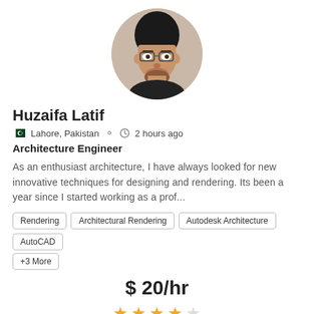[Figure (photo): Circular profile photo of a young man with glasses]
Huzaifa Latif
🇵🇰 Lahore, Pakistan  👤  🕐 2 hours ago
Architecture Engineer
As an enthusiast architecture, I have always looked for new innovative techniques for designing and rendering. Its been a year since I started working as a prof...
Rendering
Architectural Rendering
Autodesk Architecture
AutoCAD
+3 More
$ 20/hr
[Figure (illustration): 4 gold star rating icons]
1 Feedbacks